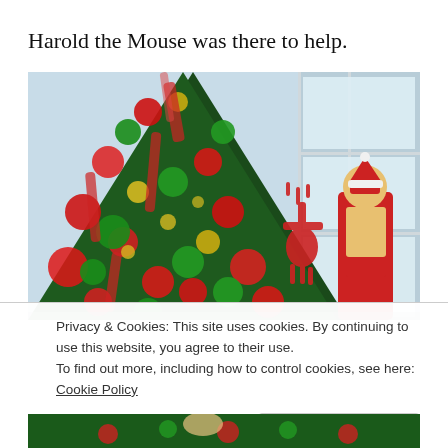Harold the Mouse was there to help.
[Figure (photo): A large decorated Christmas tree with red and green ornaments, ribbons, and decorations. In the background are large windows and to the right a nutcracker/Santa figurine and a red reindeer decoration.]
Privacy & Cookies: This site uses cookies. By continuing to use this website, you agree to their use.
To find out more, including how to control cookies, see here: Cookie Policy
[Figure (photo): Partial view of a Christmas scene at the bottom of the page.]